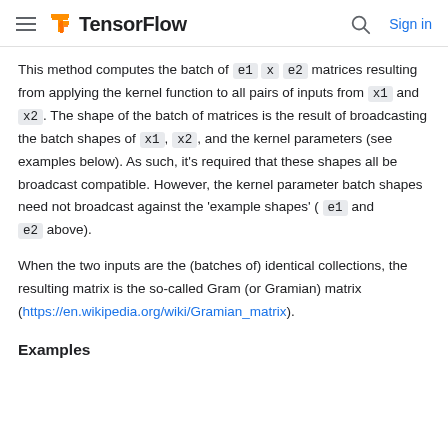TensorFlow — Sign in
This method computes the batch of e1 x e2 matrices resulting from applying the kernel function to all pairs of inputs from x1 and x2. The shape of the batch of matrices is the result of broadcasting the batch shapes of x1, x2, and the kernel parameters (see examples below). As such, it's required that these shapes all be broadcast compatible. However, the kernel parameter batch shapes need not broadcast against the 'example shapes' ( e1 and e2 above).
When the two inputs are the (batches of) identical collections, the resulting matrix is the so-called Gram (or Gramian) matrix (https://en.wikipedia.org/wiki/Gramian_matrix).
Examples